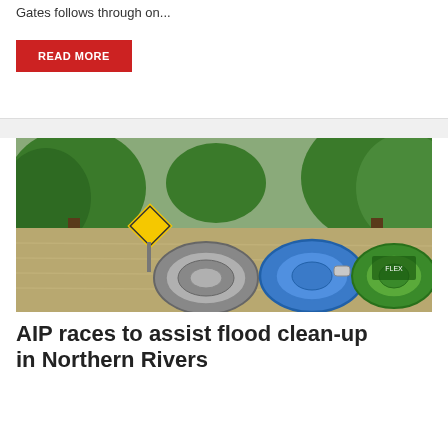Gates follows through on...
READ MORE
[Figure (photo): Flooded road with a yellow warning sign visible, floodwater covering the area with trees in the background. In the foreground, three coiled hoses are shown: a grey corrugated hose, a blue flat hose, and a green garden hose.]
AIP races to assist flood clean-up in Northern Rivers
As the owner of Think Water Northern